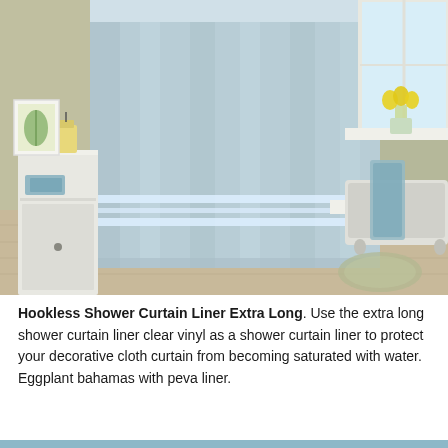[Figure (photo): A light blue hookless shower curtain with white horizontal stripes near the bottom, hanging in a stylish bathroom. On the left is a white cabinet with a candle and framed botanical print. On the right is a window with yellow tulips and a bathtub with a blue towel draped over it. Hardwood floors visible.]
Hookless Shower Curtain Liner Extra Long. Use the extra long shower curtain liner clear vinyl as a shower curtain liner to protect your decorative cloth curtain from becoming saturated with water. Eggplant bahamas with peva liner.